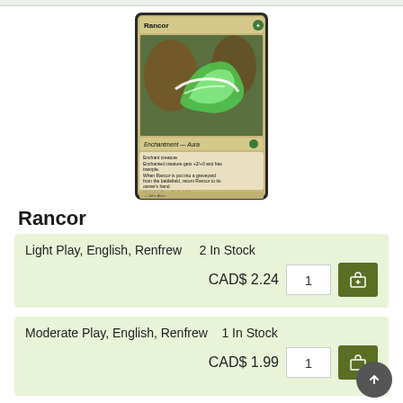[Figure (photo): Magic: The Gathering card named Rancor — Enchantment Aura with green creature artwork]
Rancor
Light Play, English, Renfrew    2 In Stock
CAD$ 2.24    1    [add to cart]
Moderate Play, English, Renfrew    1 In Stock
CAD$ 1.99    1    [add to cart]